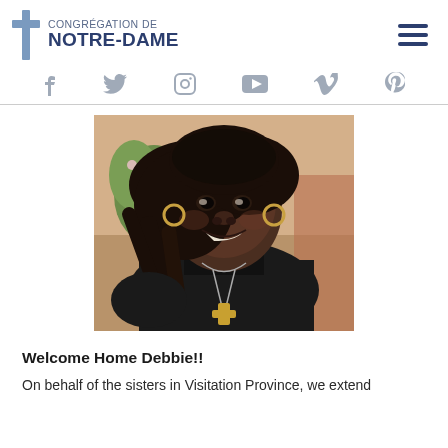CONGRÉGATION DE NOTRE-DAME
[Figure (logo): Congrégation de Notre-Dame logo with cross and text]
[Figure (photo): Woman wearing black turtleneck with cross necklace, smiling, standing outdoors with pink flowers in background]
Welcome Home Debbie!!
On behalf of the sisters in Visitation Province, we extend